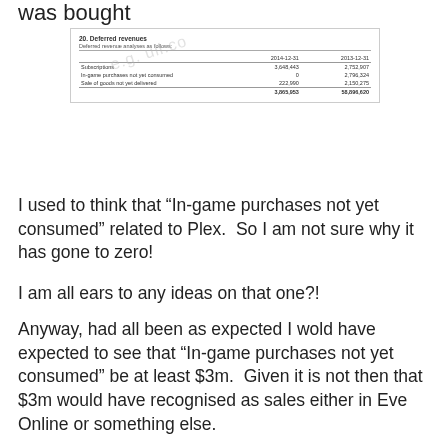was bought
|  | 2014-12-31 | 2013-12-31 |
| --- | --- | --- |
| Subscriptions | 3,648,443 | 2,752,907 |
| In-game purchases not yet consumed | 0 | 2,796,324 |
| Sale of goods not yet delivered | 222,990 | 2,150,275 |
I used to think that “In-game purchases not yet consumed” related to Plex.  So I am not sure why it has gone to zero!
I am all ears to any ideas on that one?!
Anyway, had all been as expected I wold have expected to see that “In-game purchases not yet consumed” be at least $3m.  Given it is not then that $3m would have recognised as sales either in Eve Online or something else.